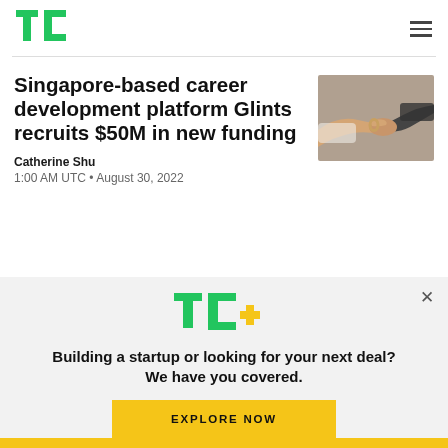TechCrunch
Singapore-based career development platform Glints recruits $50M in new funding
[Figure (photo): Photo of two people shaking hands]
Catherine Shu
1:00 AM UTC • August 30, 2022
[Figure (logo): TC+ logo in green and yellow]
Building a startup or looking for your next deal? We have you covered.
EXPLORE NOW